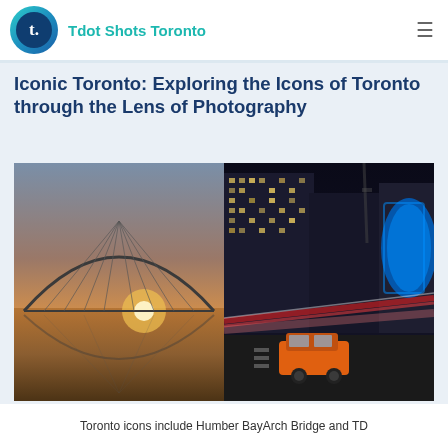Tdot Shots Toronto
Iconic Toronto: Exploring the Icons of Toronto through the Lens of Photography
[Figure (photo): Two side-by-side photos: left shows Humber Bay Arch Bridge at sunset with reflection in water; right shows a night street scene with an orange taxi, motion-blurred red streetcar light trails, and tall illuminated office buildings with a blue curved billboard.]
Toronto icons include Humber BayArch Bridge and TD